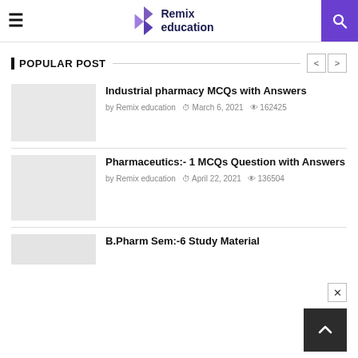Remix education
POPULAR POST
Industrial pharmacy MCQs with Answers
by Remix education  March 6, 2021  162425
Pharmaceutics:- 1 MCQs Question with Answers
by Remix education  April 22, 2021  136504
B.Pharm Sem:-6 Study Material